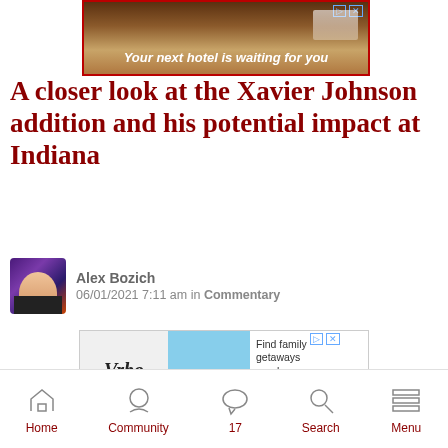[Figure (photo): Advertisement banner: 'Your next hotel is waiting for you' with hotel/resort background image]
A closer look at the Xavier Johnson addition and his potential impact at Indiana
[Figure (photo): Author avatar photo of Alex Bozich]
Alex Bozich
06/01/2021 7:11 am in Commentary
[Figure (photo): Vrbo advertisement: 'Find family getaways nearby' with Book early button]
[Figure (photo): Basketball photo of Xavier Johnson in Pittsburgh Panthers white jersey #1 on basketball court with blue and gold ACC arena background]
Home   Community   17   Search   Menu